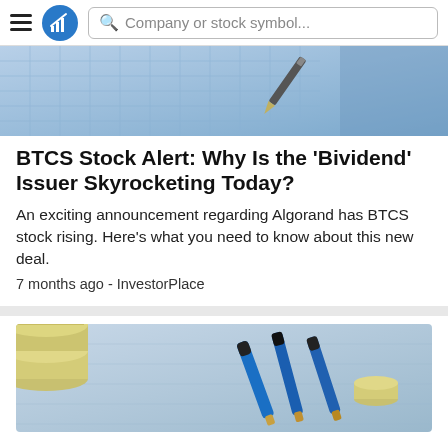Company or stock symbol...
[Figure (photo): Close-up photo of financial documents with a pen, showing grid/table paper in blue tones]
BTCS Stock Alert: Why Is the 'Bividend' Issuer Skyrocketing Today?
An exciting announcement regarding Algorand has BTCS stock rising. Here's what you need to know about this new deal.
7 months ago - InvestorPlace
[Figure (photo): Photo of stacked coins and blue pens on a financial document background]